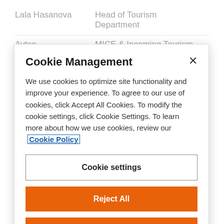Lala Hasanova   Head of Tourism Department
Ayten   MICE & Incoming Tourism
Cookie Management
We use cookies to optimize site functionality and improve your experience. To agree to our use of cookies, click Accept All Cookies. To modify the cookie settings, click Cookie Settings. To learn more about how we use cookies, review our Cookie Policy
Cookie settings
Reject All
ACCEPT ALL COOKIES